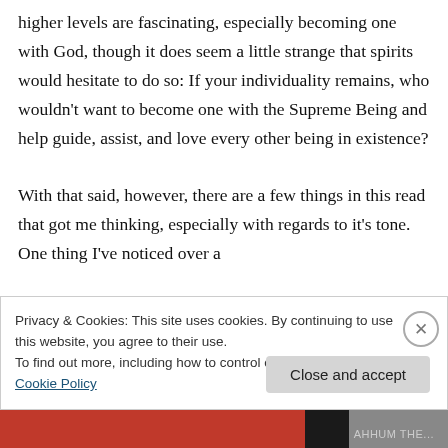higher levels are fascinating, especially becoming one with God, though it does seem a little strange that spirits would hesitate to do so: If your individuality remains, who wouldn't want to become one with the Supreme Being and help guide, assist, and love every other being in existence?

With that said, however, there are a few things in this read that got me thinking, especially with regards to it's tone. One thing I've noticed over a
Privacy & Cookies: This site uses cookies. By continuing to use this website, you agree to their use.
To find out more, including how to control cookies, see here: Cookie Policy
Close and accept